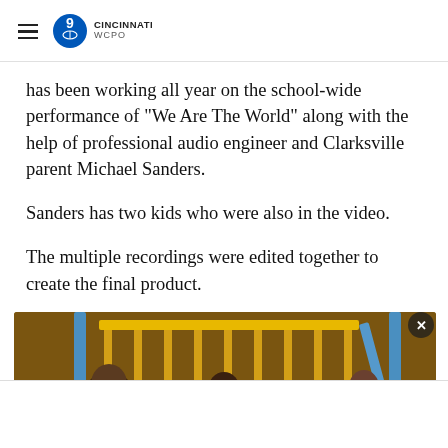WCPO 9 CINCINNATI
has been working all year on the school-wide performance of "We Are The World" along with the help of professional audio engineer and Clarksville parent Michael Sanders.
Sanders has two kids who were also in the video.
The multiple recordings were edited together to create the final product.
[Figure (photo): Photo of people on a playground with yellow and blue playground equipment visible in the background]